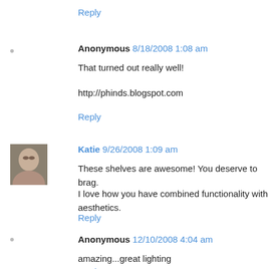Reply
Anonymous 8/18/2008 1:08 am
That turned out really well!
http://phinds.blogspot.com
Reply
Katie 9/26/2008 1:09 am
These shelves are awesome! You deserve to brag.

I love how you have combined functionality with aesthetics.
Reply
Anonymous 12/10/2008 4:04 am
amazing...great lighting
Reply